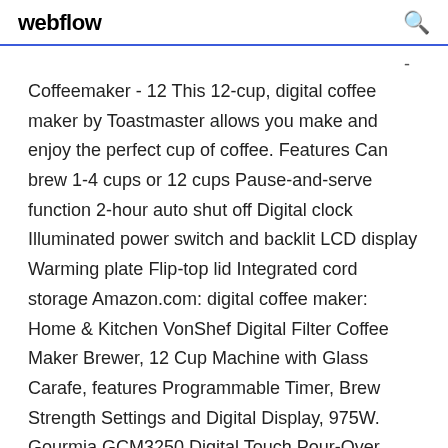webflow
Coffeemaker - 12 This 12-cup, digital coffee maker by Toastmaster allows you make and enjoy the perfect cup of coffee. Features Can brew 1-4 cups or 12 cups Pause-and-serve function 2-hour auto shut off Digital clock Illuminated power switch and backlit LCD display Warming plate Flip-top lid Integrated cord storage Amazon.com: digital coffee maker: Home & Kitchen VonShef Digital Filter Coffee Maker Brewer, 12 Cup Machine with Glass Carafe, features Programmable Timer, Brew Strength Settings and Digital Display, 975W. Gourmia GCM3250 Digital Touch Pour-Over Coffee Maker - Automatic and Manual